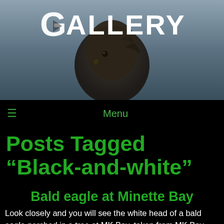GALLERY
[Figure (photo): Eagle bird silhouette/head shown against grayish-blue gradient background forming header banner]
Menu
Posts Tagged “Black-and-white”
Bald eagle at Minette Bay
Look closely and you will see the white head of a bald eagle perched in a tree at MK Bay, taken from MK Bay West Park.
[Figure (photo): Black and white landscape photo showing misty forested mountains with evergreen trees in fog]